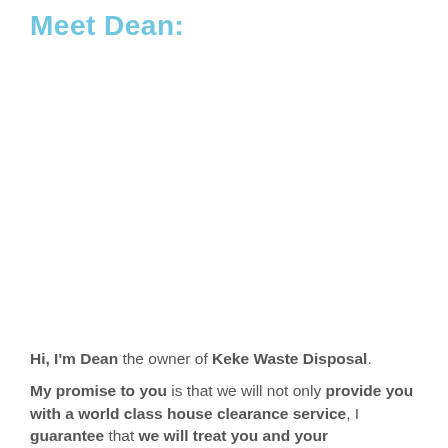Meet Dean:
[Figure (photo): Photo of Dean, owner of Keke Waste Disposal (image area appears blank/white in this rendering)]
Hi, I'm Dean the owner of Keke Waste Disposal.
My promise to you is that we will not only provide you with a world class house clearance service, I guarantee that we will treat you and your